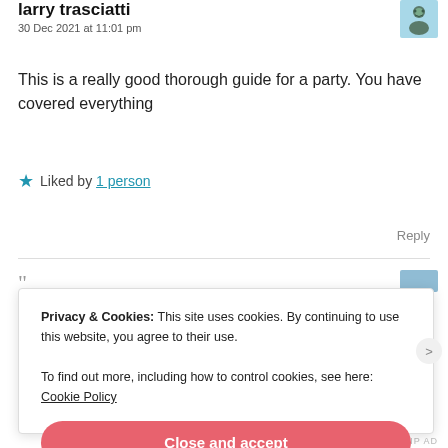larry trasciatti
30 Dec 2021 at 11:01 pm
This is a really good thorough guide for a party. You have covered everything
Liked by 1 person
Reply
Privacy & Cookies: This site uses cookies. By continuing to use this website, you agree to their use.
To find out more, including how to control cookies, see here: Cookie Policy
Close and accept